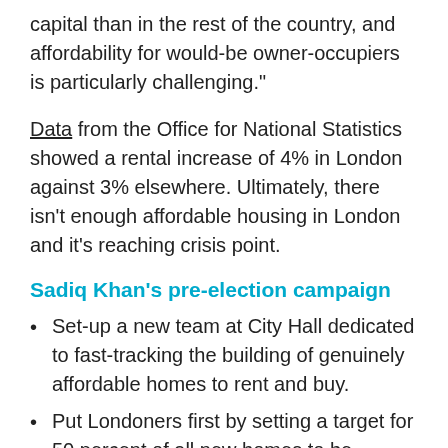capital than in the rest of the country, and affordability for would-be owner-occupiers is particularly challenging."
Data from the Office for National Statistics showed a rental increase of 4% in London against 3% elsewhere. Ultimately, there isn't enough affordable housing in London and it's reaching crisis point.
Sadiq Khan's pre-election campaign
Set-up a new team at City Hall dedicated to fast-tracking the building of genuinely affordable homes to rent and buy.
Put Londoners first by setting a target for 50 percent of all new homes to be affordable.